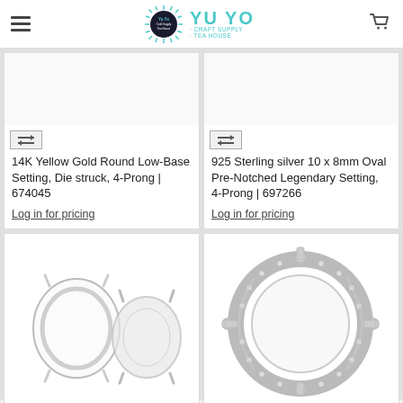YU YO · CRAFT SUPPLY · TEA HOUSE
14K Yellow Gold Round Low-Base Setting, Die struck, 4-Prong | 674045
Log in for pricing
925 Sterling silver 10 x 8mm Oval Pre-Notched Legendary Setting, 4-Prong | 697266
Log in for pricing
[Figure (photo): Two oval 4-prong silver jewelry settings, one empty and one with a clear stone]
[Figure (photo): Round 4-prong silver ring setting with pave band, top-down view]